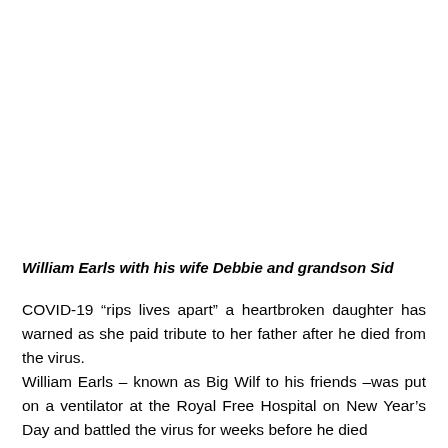William Earls with his wife Debbie and grandson Sid
COVID-19 “rips lives apart” a heartbroken daughter has warned as she paid tribute to her father after he died from the virus.
William Earls – known as Big Wilf to his friends –was put on a ventilator at the Royal Free Hospital on New Year’s Day and battled the virus for weeks before he died